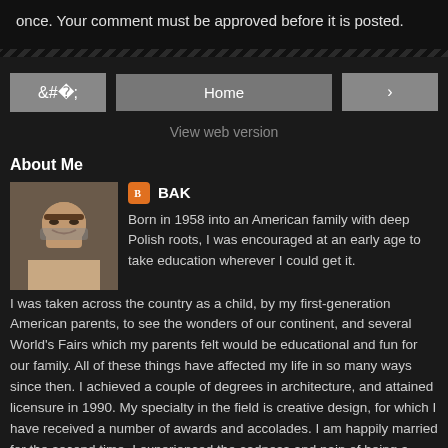once. Your comment must be approved before it is posted.
Home
View web version
About Me
BAK
Born in 1958 into an American family with deep Polish roots, I was encouraged at an early age to take education wherever I could get it. I was taken across the country as a child, by my first-generation American parents, to see the wonders of our continent, and several World's Fairs which my parents felt would be educational and fun for our family. All of these things have affected my life in so many ways since then. I achieved a couple of degrees in architecture, and attained licensure in 1990. My specialty in the field is creative design, for which I have received a number of awards and accolades. I am happily married for the second time. I experienced the sadness and pain of being a widower